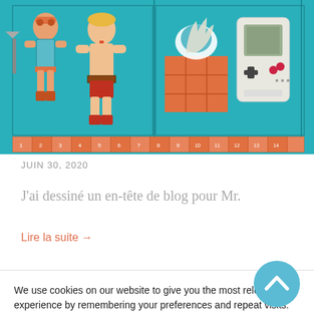[Figure (illustration): Colorful retro-style illustration with cartoon characters (He-Man style figures) on a teal/blue background with orange accents and a Game Boy device. Bottom strip shows numbered cards.]
JUIN 30, 2020
J'ai dessiné un en-tête de blog pour Mr.
Lire la suite →
We use cookies on our website to give you the most relevant experience by remembering your preferences and repeat visits. By clicking "Accept All", you consent to the use of ALL the cookies. However, you may visit "Cookie Settings" to provide a controlled consent.
Cookie Settings
Accept All